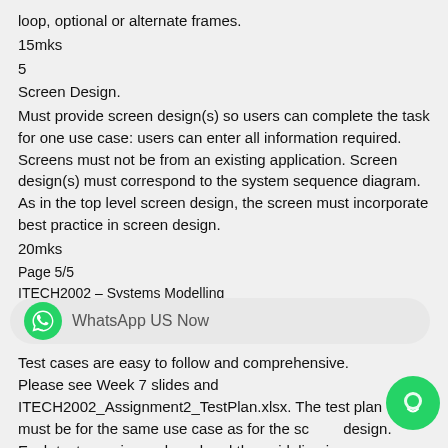loop, optional or alternate frames.
15mks
5
Screen Design.
Must provide screen design(s) so users can complete the task for one use case: users can enter all information required. Screens must not be from an existing application. Screen design(s) must correspond to the system sequence diagram. As in the top level screen design, the screen must incorporate best practice in screen design.
20mks
Page 5/5
ITECH2002 – Systems Modelling
Assignment 2 Specification – 2020
[Figure (other): WhatsApp US Now banner with green WhatsApp icon]
Test cases are easy to follow and comprehensive. Please see Week 7 slides and ITECH2002_Assignment2_TestPlan.xlsx. The test plan must be for the same use case as for the screen design. Each test case is numbered and the guideline is correctly identified. Each test case has a short description, test data and